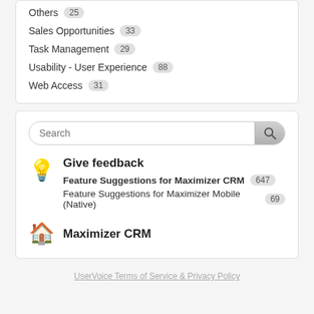Others 25
Sales Opportunities 33
Task Management 29
Usability - User Experience 88
Web Access 31
Search
Give feedback
Feature Suggestions for Maximizer CRM 647
Feature Suggestions for Maximizer Mobile (Native) 69
Maximizer CRM
UserVoice Terms of Service & Privacy Policy